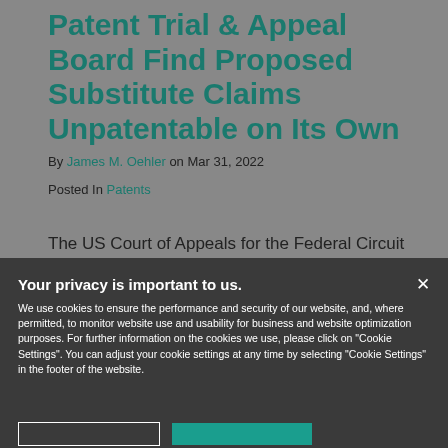Patent Trial & Appeal Board Find Proposed Substitute Claims Unpatentable on Its Own
By James M. Oehler on Mar 31, 2022
Posted In Patents
The US Court of Appeals for the Federal Circuit
Your privacy is important to us.

We use cookies to ensure the performance and security of our website, and, where permitted, to monitor website use and usability for business and website optimization purposes. For further information on the cookies we use, please click on "Cookie Settings". You can adjust your cookie settings at any time by selecting "Cookie Settings" in the footer of the website.